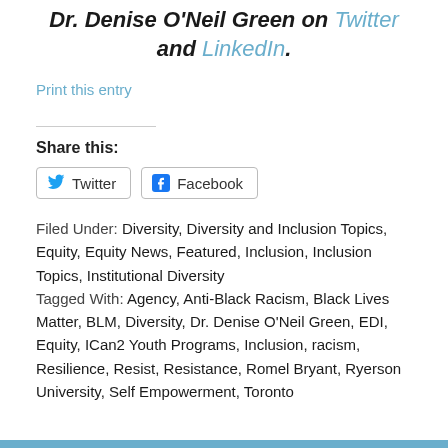Dr. Denise O'Neil Green on Twitter and LinkedIn.
Print this entry
Share this:
Twitter  Facebook
Filed Under: Diversity, Diversity and Inclusion Topics, Equity, Equity News, Featured, Inclusion, Inclusion Topics, Institutional Diversity
Tagged With: Agency, Anti-Black Racism, Black Lives Matter, BLM, Diversity, Dr. Denise O'Neil Green, EDI, Equity, ICan2 Youth Programs, Inclusion, racism, Resilience, Resist, Resistance, Romel Bryant, Ryerson University, Self Empowerment, Toronto